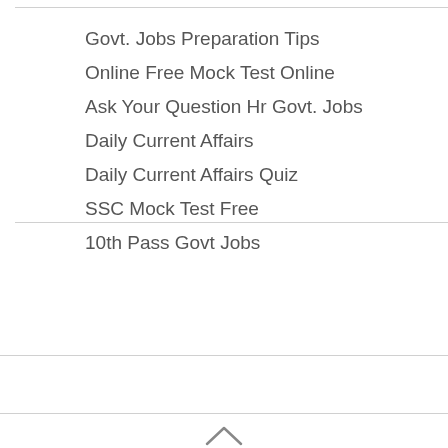Govt. Jobs Preparation Tips
Online Free Mock Test Online
Ask Your Question Hr Govt. Jobs
Daily Current Affairs
Daily Current Affairs Quiz
SSC Mock Test Free
10th Pass Govt Jobs